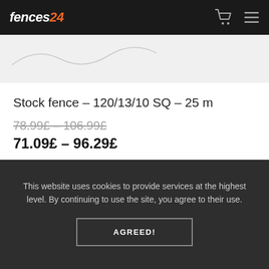fences24
[Figure (photo): Partial product photo of a stock fence, light grey background visible]
Stock fence – 120/13/10 SQ – 25 m
78.99£ – 106.99£
71.09£ – 96.29£
SELECT OPTIONS
[Figure (photo): Partial product photo cropped at bottom of visible area]
This website uses cookies to provide services at the highest level. By continuing to use the site, you agree to their use.
AGREED!